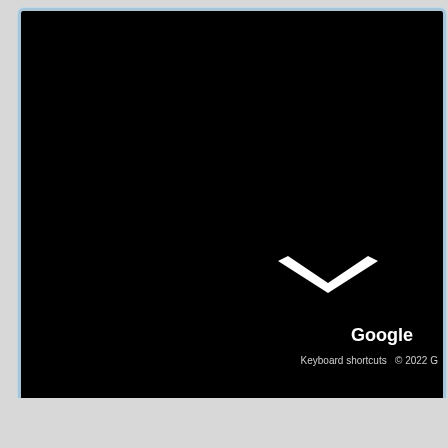[Figure (screenshot): A screenshot of a Google Maps interface showing a mostly black/dark map area with a white chevron/down-arrow icon in the lower right portion, along with 'Google' branding text and 'Keyboard shortcuts © 2022' footer text visible at the bottom right. The screenshot is displayed within a rounded border with a light blue/gray frame against a light gray background.]